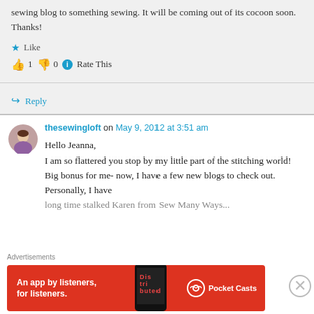sewing blog to something sewing. It will be coming out of its cocoon soon. Thanks!
★ Like
👍 1  👎 0  ℹ Rate This
↪ Reply
thesewingloft on May 9, 2012 at 3:51 am
Hello Jeanna,
I am so flattered you stop by my little part of the stitching world! Big bonus for me- now, I have a few new blogs to check out. Personally, I have long time stalked Karen from Sew Many Ways...
Advertisements
[Figure (other): Pocket Casts advertisement banner — red background, text 'An app by listeners, for listeners.' with phone image and Pocket Casts logo]